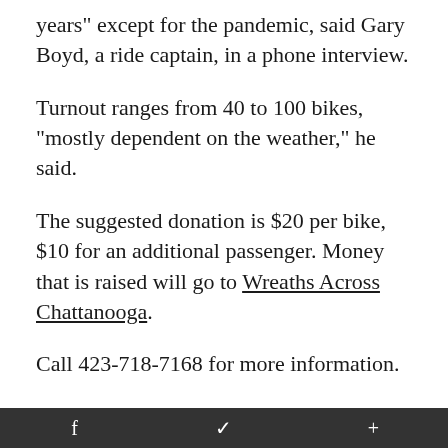years" except for the pandemic, said Gary Boyd, a ride captain, in a phone interview.
Turnout ranges from 40 to 100 bikes, "mostly dependent on the weather," he said.
The suggested donation is $20 per bike, $10 for an additional passenger. Money that is raised will go to Wreaths Across Chattanooga.
Call 423-718-7168 for more information.
- Exhibit unveiling: The Charles H. Coolidge Medal of Honor Heritage Center, 2 W. Aquarium Way, will unveil its latest exhibit at
f  ✦  +